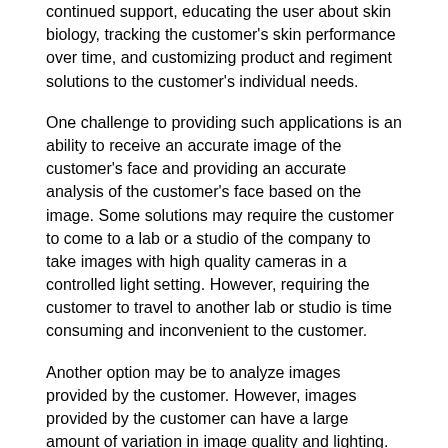continued support, educating the user about skin biology, tracking the customer's skin performance over time, and customizing product and regiment solutions to the customer's individual needs.
One challenge to providing such applications is an ability to receive an accurate image of the customer's face and providing an accurate analysis of the customer's face based on the image. Some solutions may require the customer to come to a lab or a studio of the company to take images with high quality cameras in a controlled light setting. However, requiring the customer to travel to another lab or studio is time consuming and inconvenient to the customer.
Another option may be to analyze images provided by the customer. However, images provided by the customer can have a large amount of variation in image quality and lighting.
SUMMARY
According to aspects illustrated herein, there are provided a method, non-transitory computer readable medium and system for transmitting an assessment of facial skin